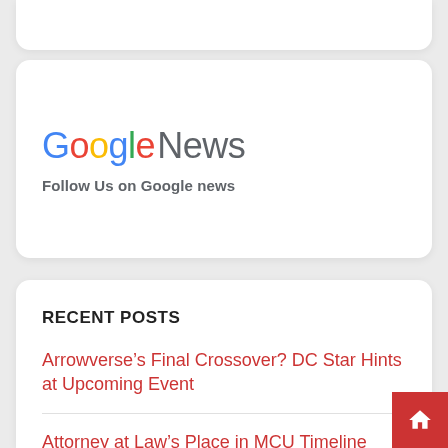[Figure (logo): Google News logo with colored letters and 'Follow Us on Google news' subtitle]
Follow Us on Google news
RECENT POSTS
Arrowverse’s Final Crossover? DC Star Hints at Upcoming Event
Attorney at Law’s Place in MCU Timeline Revealed